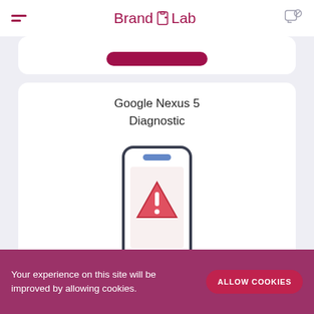BrandLabLab
[Figure (illustration): Smartphone with a warning/alert triangle icon on screen, diagnostic illustration]
Google Nexus 5 Diagnostic
£ 20.00
Your experience on this site will be improved by allowing cookies.
ALLOW COOKIES